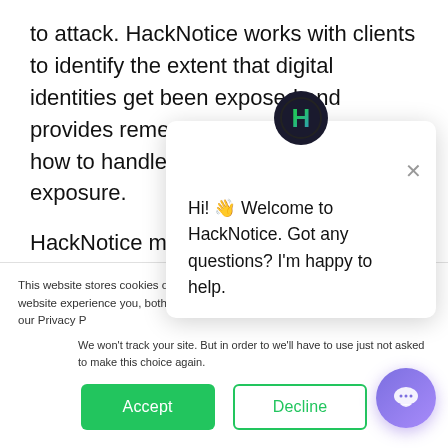to attack. HackNotice works with clients to identify the extent that digital identities get been exposed and provides remediation suggestions for how to handle each typecast of exposure.
HackNotice monitors the hacker community, which is a network of individuals that portion data breaches, hacks, leaks, malware, spyware, ransomware, and
This website stores cookies on your computer. These are used to improve your website experience you, both on this website and through cookies we use, see our Privacy P
We won't track your site. But in order to we'll have to use just not asked to make this choice again.
Hi! 👋 Welcome to HackNotice. Got any questions? I'm happy to help.
Accept
Decline